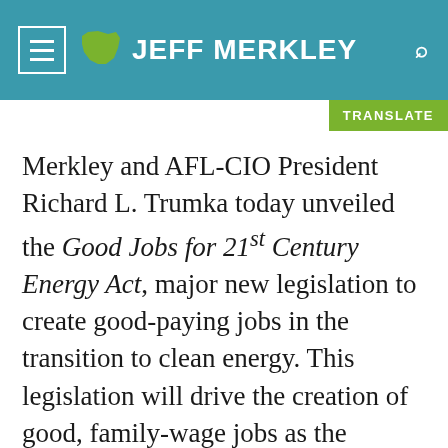JEFF MERKLEY
Merkley and AFL-CIO President Richard L. Trumka today unveiled the Good Jobs for 21st Century Energy Act, major new legislation to create good-paying jobs in the transition to clean energy. This legislation will drive the creation of good, family-wage jobs as the American clean energy, infrastructure, and technology industry expands, by giving tax credits to companies who build out our new energy economy using strong pro-worker standards, such as high-quality benefits, living wages, and apprenticeship opportunities.